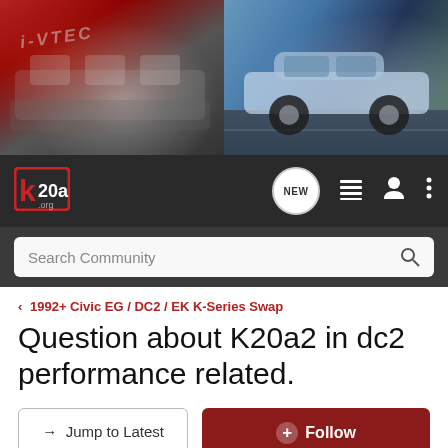[Figure (photo): Hero banner split into two photos: left shows a red Honda VTEC engine close-up, right shows a silver Honda Civic in motion on a road.]
[Figure (logo): k20a.org forum logo — stylized red and white 'k20a' text with .org below.]
NEW (chat bubble icon), list icon, person icon, three-dots menu icon
Search Community
< 1992+ Civic EG / DC2 / EK K-Series Swap
Question about K20a2 in dc2 performance related.
→ Jump to Latest
+ Follow
1 - 6 of 6 Posts